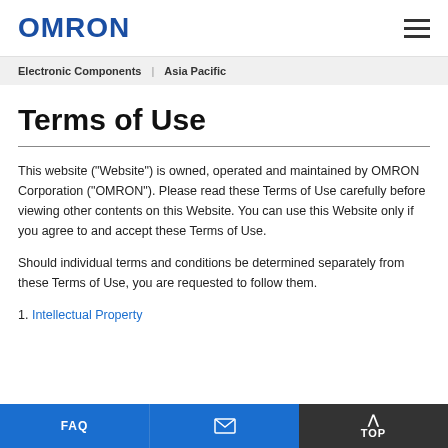OMRON
Electronic Components | Asia Pacific
Terms of Use
This website ("Website") is owned, operated and maintained by OMRON Corporation ("OMRON"). Please read these Terms of Use carefully before viewing other contents on this Website. You can use this Website only if you agree to and accept these Terms of Use.
Should individual terms and conditions be determined separately from these Terms of Use, you are requested to follow them.
1. Intellectual Property
FAQ | [mail icon] | TOP